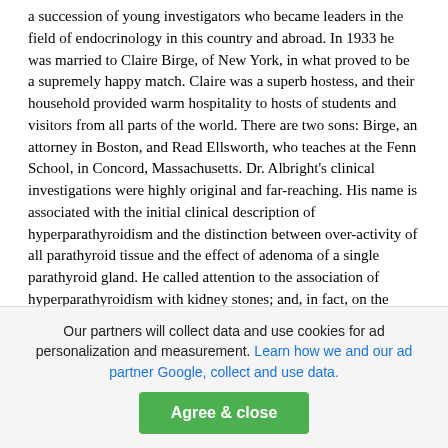a succession of young investigators who became leaders in the field of endocrinology in this country and abroad. In 1933 he was married to Claire Birge, of New York, in what proved to be a supremely happy match. Claire was a superb hostess, and their household provided warm hospitality to hosts of students and visitors from all parts of the world. There are two sons: Birge, an attorney in Boston, and Read Ellsworth, who teaches at the Fenn School, in Concord, Massachusetts. Dr. Albright's clinical investigations were highly original and far-reaching. His name is associated with the initial clinical description of hyperparathyroidism and the distinction between over-activity of all parathyroid tissue and the effect of adenoma of a single parathyroid gland. He called attention to the association of hyperparathyroidism with kidney stones; and, in fact, on the basis of an extensive study carried out in his Stone Clinic, he laid the basis for the modern diagnosis and treatment of this condition. In his laboratory was developed a method for measuring gonadotropins in the urine, which made it possible to characterize various types of amenorrhea as well as disorders of testicular functions. In 1928 he described
Our partners will collect data and use cookies for ad personalization and measurement. Learn how we and our ad partner Google, collect and use data.